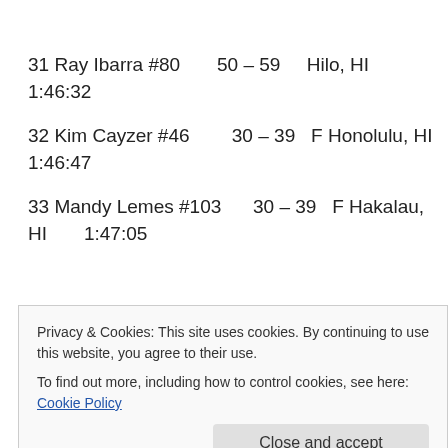31 Ray Ibarra #80   50 – 59   Hilo, HI   1:46:32
32 Kim Cayzer #46   30 – 39 F Honolulu, HI   1:46:47
33 Mandy Lemes #103   30 – 39   F Hakalau, HI   1:47:05
Privacy & Cookies: This site uses cookies. By continuing to use this website, you agree to their use.
To find out more, including how to control cookies, see here: Cookie Policy
KS   1:47:18